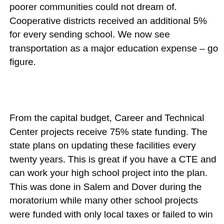poorer communities could not dream of. Cooperative districts received an additional 5% for every sending school. We now see transportation as a major education expense – go figure.
From the capital budget, Career and Technical Center projects receive 75% state funding. The state plans on updating these facilities every twenty years. This is great if you have a CTE and can work your high school project into the plan. This was done in Salem and Dover during the moratorium while many other school projects were funded with only local taxes or failed to win the required 60% support of the voters. CTE schools are a